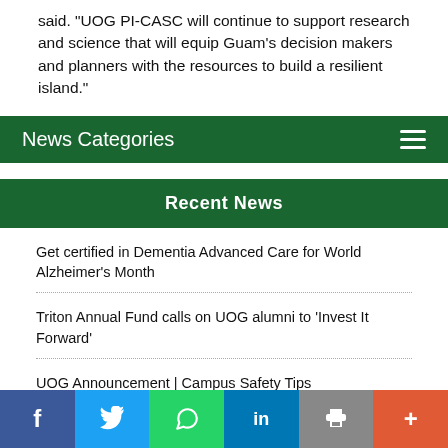said. "UOG PI-CASC will continue to support research and science that will equip Guam's decision makers and planners with the resources to build a resilient island."
News Categories
Recent News
Get certified in Dementia Advanced Care for World Alzheimer's Month
Triton Annual Fund calls on UOG alumni to 'Invest It Forward'
UOG Announcement | Campus Safety Tips
Share buttons: Facebook, Twitter, WhatsApp, LinkedIn, Print, More